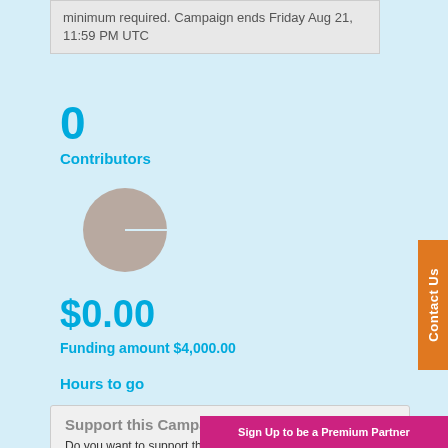minimum required. Campaign ends Friday Aug 21, 11:59 PM UTC
0
Contributors
[Figure (pie-chart): Gray circle pie chart showing 0% funded, fully gray]
$0.00
Funding amount $4,000.00
Hours to go
Support this Campaign ♥♥♥.
Do you want to support this campaign? Donate now or follow this campaign first before deciding to donate to it.
Follow
Dona
Contact Us
Sign Up to be a Premium Partner